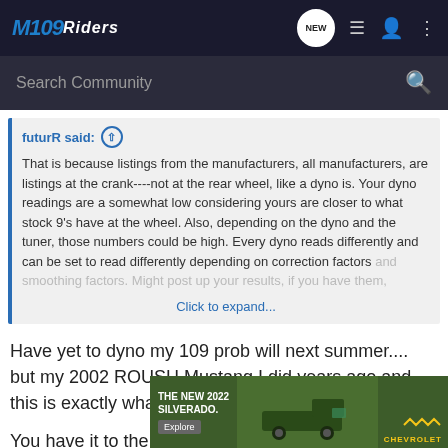M109Riders
Search Community
futurR said: That is because listings from the manufacturers, all manufacturers, are listings at the crank----not at the rear wheel, like a dyno is. Your dyno readings are a somewhat low considering yours are closer to what stock 9's have at the wheel. Also, depending on the dyno and the tuner, those numbers could be high. Every dyno reads differently and can be set to read differently depending on correction factors and smoothing factors. Might post up your results, if you have them. Click to expand...
Have yet to dyno my 109 prob will next summer.... but my 2002 ROUSH Mustang I did years ago and this is exactly what he said...
You have to compare it to the rear... you
[Figure (screenshot): Advertisement banner for The New 2022 Silverado by Chevrolet with truck image and Explore button]